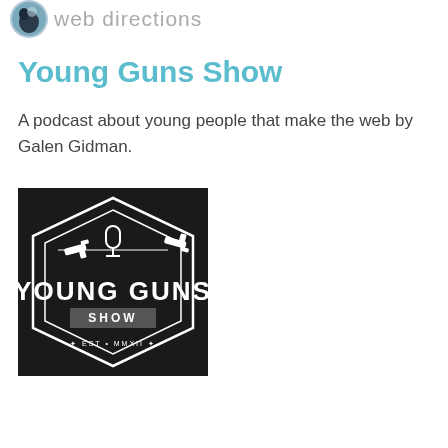[Figure (logo): Web directions logo: circular icon with a figure and 'web directions' text in grey]
Young Guns Show
A podcast about young people that make the web by Galen Gidman.
[Figure (logo): Young Guns Show podcast logo: black background with diamond/hexagon badge shape, microphone and pistols illustration, text 'YOUNG GUNS' in large white letters, 'SHOW' in smaller white text, 'EST. MMXII' below]